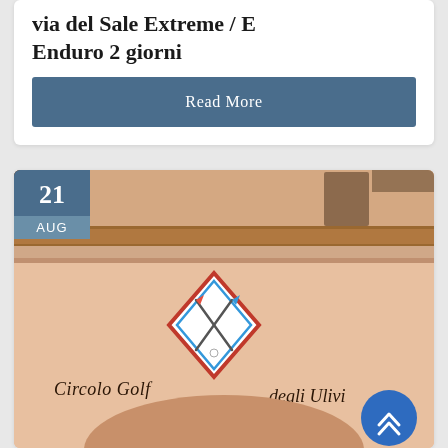Via del Sale Extreme / E Enduro 2 giorni
Read More
[Figure (photo): Photo of a golf club building facade (Circolo Golf degli Ulivi 1932) showing pink/terracotta architectural details with a diamond-shaped logo sign on the wall]
21 AUG